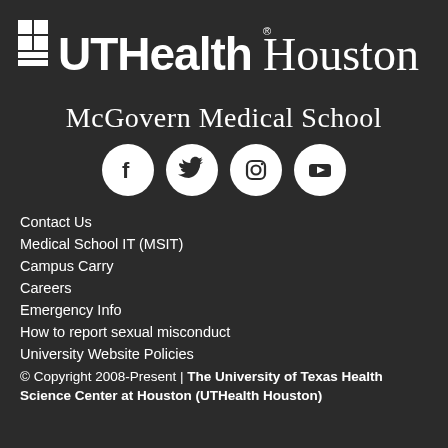[Figure (logo): UTHealth Houston logo with grid icon and text]
McGovern Medical School
[Figure (infographic): Social media icons: Facebook, Twitter, Instagram, YouTube]
Contact Us
Medical School IT (MSIT)
Campus Carry
Careers
Emergency Info
How to report sexual misconduct
University Website Policies
© Copyright 2008-Present | The University of Texas Health Science Center at Houston (UTHealth Houston)